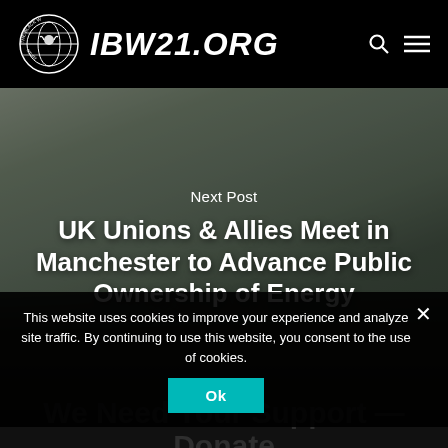IBW21.ORG
[Figure (photo): Meeting room with people seated around long tables, appearing to be a union or community meeting. Overlaid with 'Next Post' label and article title text.]
Next Post
UK Unions & Allies Meet in Manchester to Advance Public Ownership of Energy
This website uses cookies to improve your experience and analyze site traffic. By continuing to use this website, you consent to the use of cookies.
Ok
We Need Your Support — Donate